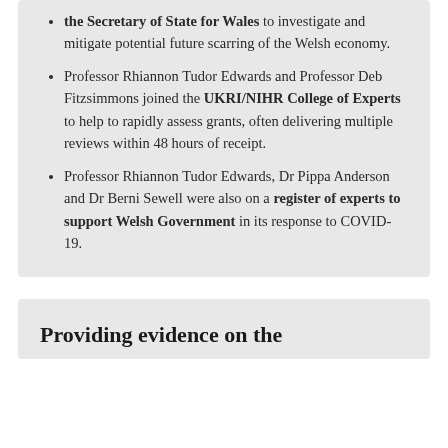the Secretary of State for Wales to investigate and mitigate potential future scarring of the Welsh economy.
Professor Rhiannon Tudor Edwards and Professor Deb Fitzsimmons joined the UKRI/NIHR College of Experts to help to rapidly assess grants, often delivering multiple reviews within 48 hours of receipt.
Professor Rhiannon Tudor Edwards, Dr Pippa Anderson and Dr Berni Sewell were also on a register of experts to support Welsh Government in its response to COVID-19.
Providing evidence on the